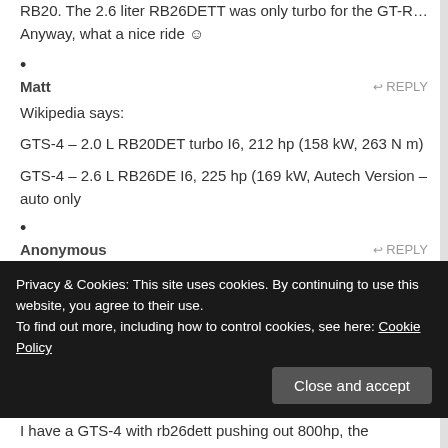RB20. The 2.6 liter RB26DETT was only turbo for the GT-R… Anyway, what a nice ride 🙂
• Matt — REPLY
Wikipedia says:

GTS-4 – 2.0 L RB20DET turbo I6, 212 hp (158 kW, 263 N m)

GTS-4 – 2.6 L RB26DE I6, 225 hp (169 kW, Autech Version – auto only
• Anonymous — REPLY
Ya sorry for the bad info, Saw it on wikipedia, Thought
Privacy & Cookies: This site uses cookies. By continuing to use this website, you agree to their use.
To find out more, including how to control cookies, see here: Cookie Policy
Close and accept
I have a GTS-4 with rb26dett pushing out 800hp, the